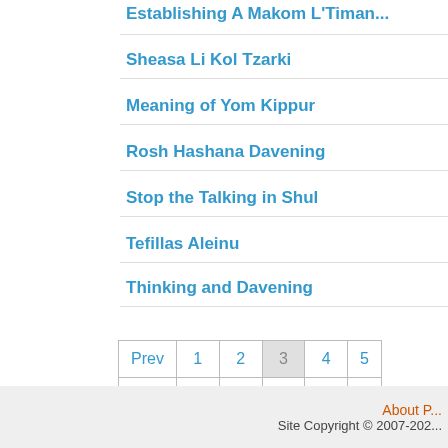Establishing A Makom L'Timan...
Sheasa Li Kol Tzarki
Meaning of Yom Kippur
Rosh Hashana Davening
Stop the Talking in Shul
Tefillas Aleinu
Thinking and Davening
| Prev | 1 | 2 | 3 | 4 | 5 |
| --- | --- | --- | --- | --- | --- |
| 19 | 20 | 21 | 22 | 23 |  |
| 36 | 37 | 38 | 39 | 40 |  |
About | Site Copyright © 2007-202...